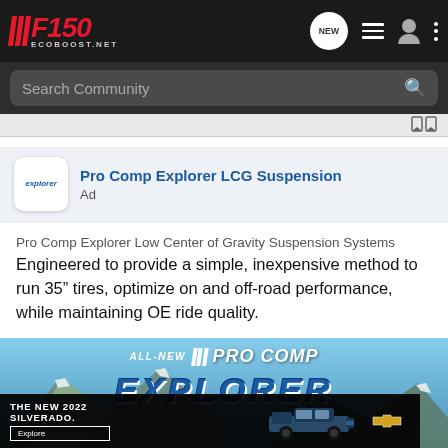F150 EcoBoost.net - Search Community
Pro Comp Explorer LCG Suspension
Ad
Pro Comp Explorer Low Center of Gravity Suspension Systems Engineered to provide a simple, inexpensive method to run 35” tires, optimize on and off-road performance, while maintaining OE ride quality.
[Figure (photo): Pro Comp Explorer product promotional image with mountains background, showing ALL-NEW PRO COMP EXPLORER text. Overlaid Silverado ad banner showing THE NEW 2022 SILVERADO. with Chevrolet logo and Explore button.]